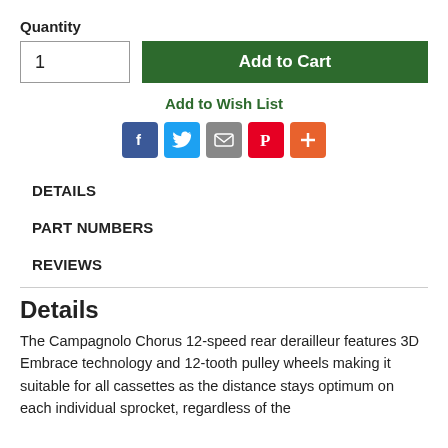Quantity
1
Add to Cart
Add to Wish List
[Figure (infographic): Social sharing icons: Facebook (blue), Twitter (blue), Email (gray), Pinterest (red), More/Plus (orange)]
DETAILS
PART NUMBERS
REVIEWS
Details
The Campagnolo Chorus 12-speed rear derailleur features 3D Embrace technology and 12-tooth pulley wheels making it suitable for all cassettes as the distance stays optimum on each individual sprocket, regardless of the